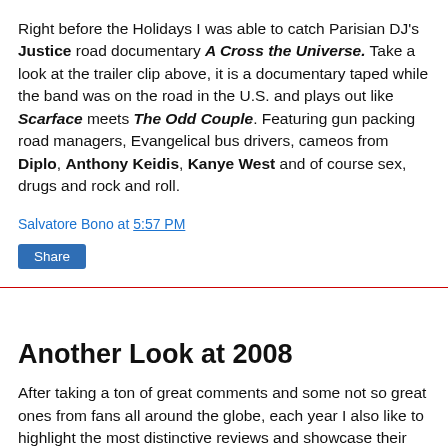Right before the Holidays I was able to catch Parisian DJ's Justice road documentary A Cross the Universe. Take a look at the trailer clip above, it is a documentary taped while the band was on the road in the U.S. and plays out like Scarface meets The Odd Couple. Featuring gun packing road managers, Evangelical bus drivers, cameos from Diplo, Anthony Keidis, Kanye West and of course sex, drugs and rock and roll.
Salvatore Bono at 5:57 PM
Share
Another Look at 2008
After taking a ton of great comments and some not so great ones from fans all around the globe, each year I also like to highlight the most distinctive reviews and showcase their